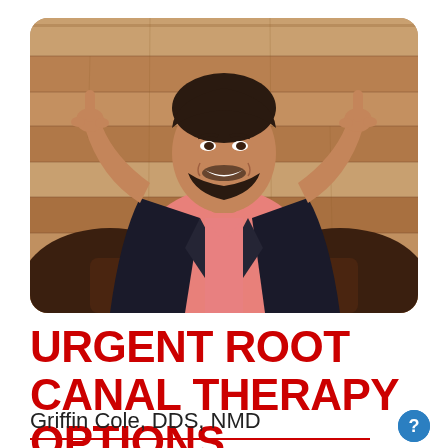[Figure (photo): A man in a dark blazer over a pink shirt sitting in a leather chair, smiling and pointing both index fingers upward, against a wood plank wall background.]
URGENT ROOT CANAL THERAPY OPTIONS
Griffin Cole, DDS, NMD